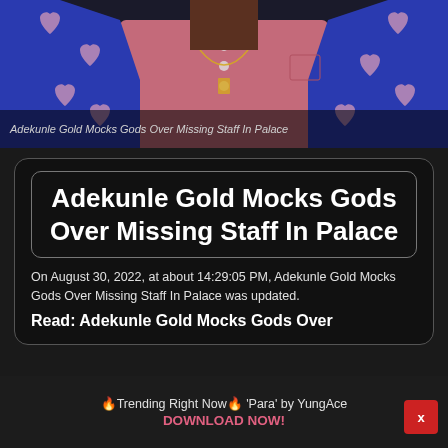[Figure (photo): Person wearing a blue blazer with pink heart patterns over a pink shirt with gold necklace, cropped at chest level]
Adekunle Gold Mocks Gods Over Missing Staff In Palace
Adekunle Gold Mocks Gods Over Missing Staff In Palace
On August 30, 2022, at about 14:29:05 PM, Adekunle Gold Mocks Gods Over Missing Staff In Palace was updated.
Read: Adekunle Gold Mocks Gods Over
🔥Trending Right Now🔥 'Para' by YungAce
DOWNLOAD NOW!